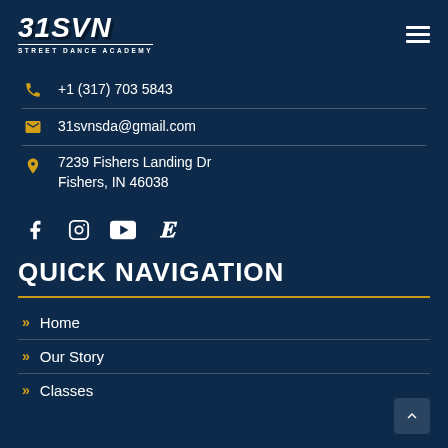[Figure (logo): 31SVN Street Dance Academy logo in white bold italic text on dark navy background]
+1 (317) 703 5843
31svnsda@gmail.com
7239 Fishers Landing Dr Fishers, IN 46038
[Figure (illustration): Social media icons: Facebook, Instagram, YouTube, Etsy]
QUICK NAVIGATION
Home
Our Story
Classes